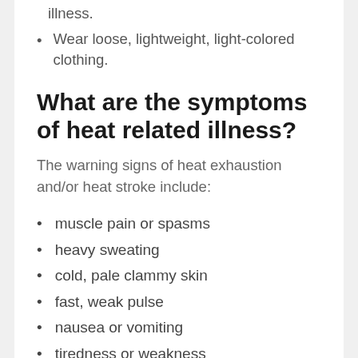illness.
Wear loose, lightweight, light-colored clothing.
What are the symptoms of heat related illness?
The warning signs of heat exhaustion and/or heat stroke include:
muscle pain or spasms
heavy sweating
cold, pale clammy skin
fast, weak pulse
nausea or vomiting
tiredness or weakness (clipped at bottom)